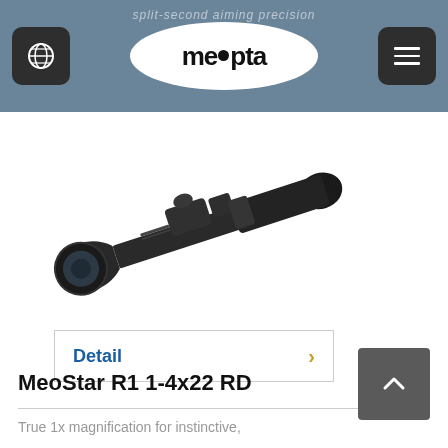split-second aiming precision
[Figure (logo): Meopta brand logo in white oval on dark header bar]
[Figure (photo): Meopta MeoStar R1 1-4x22 RD rifle scope product photo on white background, angled view showing matte black scope body with turrets]
Detail >
MeoStar R1 1-4x22 RD
True 1x magnification for instinctive,